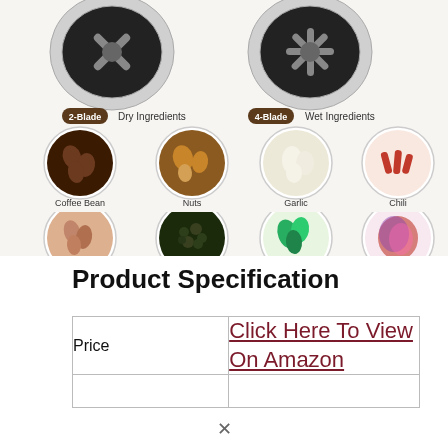[Figure (infographic): Blender blade types infographic showing 2-Blade for Dry Ingredients (Coffee Bean, Nuts, Flaxseed, Spices) and 4-Blade for Wet Ingredients (Garlic, Chili, Basil, Onion). Each ingredient shown in a circular image with label below.]
Product Specification
| Price |  |
| --- | --- |
| Price | Click Here To View On Amazon |